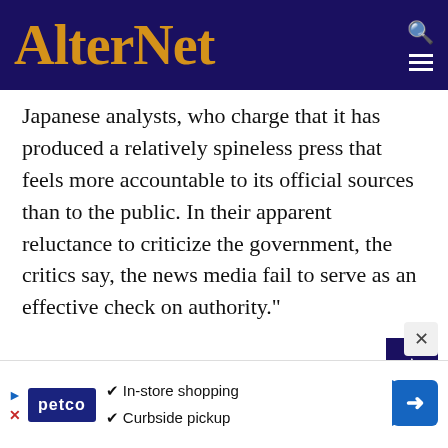AlterNet
Japanese analysts, who charge that it has produced a relatively spineless press that feels more accountable to its official sources than to the public. In their apparent reluctance to criticize the government, the critics say, the news media fail to serve as an effective check on authority."
The mind reels.
--Thin-Skinned Pundits Award WINNER:
[Figure (other): Petco advertisement banner with in-store shopping and curbside pickup options, with navigation arrow icon]